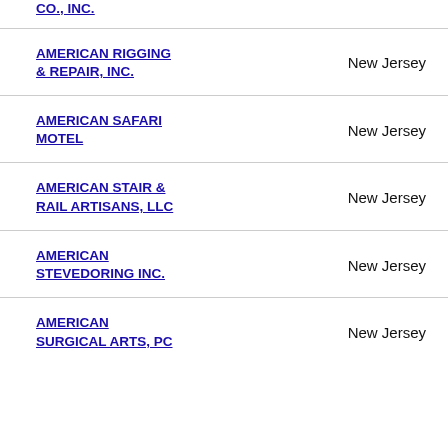CO., INC. — New Jersey
AMERICAN RIGGING & REPAIR, INC. — New Jersey
AMERICAN SAFARI MOTEL — New Jersey
AMERICAN STAIR & RAIL ARTISANS, LLC — New Jersey
AMERICAN STEVEDORING INC. — New Jersey
AMERICAN SURGICAL ARTS, PC — New Jersey